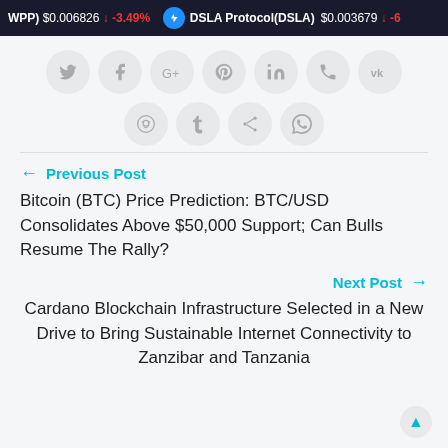WPP) $0.006826 ↓ -3.49% DSLA Protocol(DSLA) $0.003679 ↓ -6
[Figure (infographic): Social media sharing icons in circular grey buttons: Twitter, Facebook, Google+, Pinterest, LinkedIn, phone/viber, VK (top row), Reddit, Tumblr, share/music, WhatsApp (bottom row)]
← Previous Post
Bitcoin (BTC) Price Prediction: BTC/USD Consolidates Above $50,000 Support; Can Bulls Resume The Rally?
Next Post →
Cardano Blockchain Infrastructure Selected in a New Drive to Bring Sustainable Internet Connectivity to Zanzibar and Tanzania